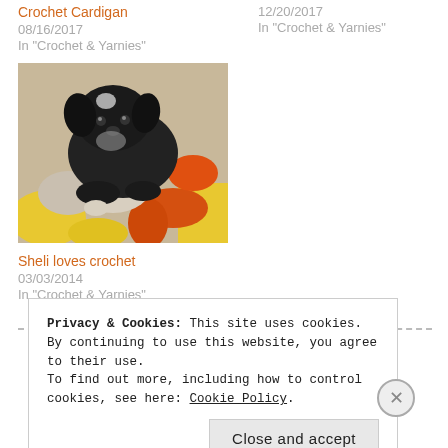Crochet Cardigan
08/16/2017
In "Crochet & Yarnies"
12/20/2017
In "Crochet & Yarnies"
[Figure (photo): A small black dog lying on colorful crochet items (yellow, orange, white)]
Sheli loves crochet
03/03/2014
In "Crochet & Yarnies"
Privacy & Cookies: This site uses cookies. By continuing to use this website, you agree to their use.
To find out more, including how to control cookies, see here: Cookie Policy.
Close and accept